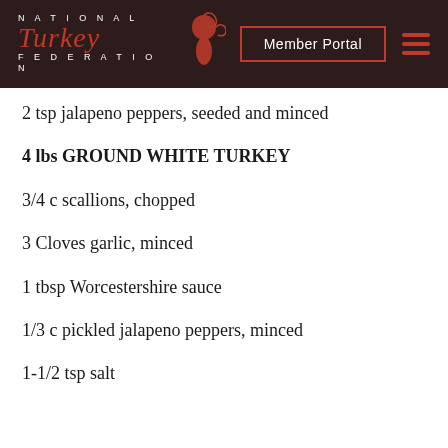NATIONAL Turkey FEDERATION | Member Portal
2 tsp jalapeno peppers, seeded and minced
4 lbs GROUND WHITE TURKEY
3/4 c scallions, chopped
3 Cloves garlic, minced
1 tbsp Worcestershire sauce
1/3 c pickled jalapeno peppers, minced
1-1/2 tsp salt